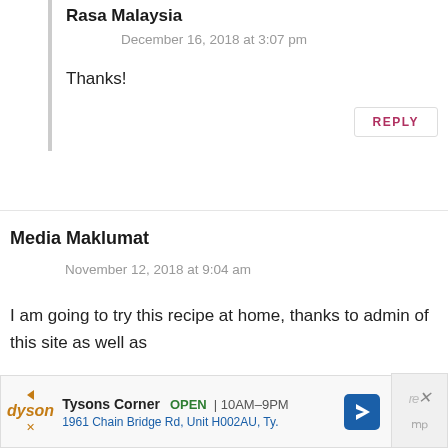Rasa Malaysia
December 16, 2018 at 3:07 pm
Thanks!
REPLY
Media Maklumat
November 12, 2018 at 9:04 am
I am going to try this recipe at home, thanks to admin of this site as well as
[Figure (other): Advertisement banner for Dyson at Tysons Corner, showing store info: OPEN 10AM-9PM, 1961 Chain Bridge Rd, Unit H002AU, Ty.]